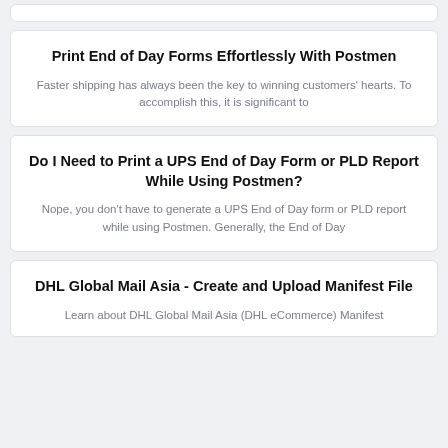Print End of Day Forms Effortlessly With Postmen
Faster shipping has always been the key to winning customers' hearts. To accomplish this, it is significant to
Do I Need to Print a UPS End of Day Form or PLD Report While Using Postmen?
Nope, you don't have to generate a UPS End of Day form or PLD report while using Postmen. Generally, the End of Day
DHL Global Mail Asia - Create and Upload Manifest File
Learn about DHL Global Mail Asia (DHL eCommerce) Manifest